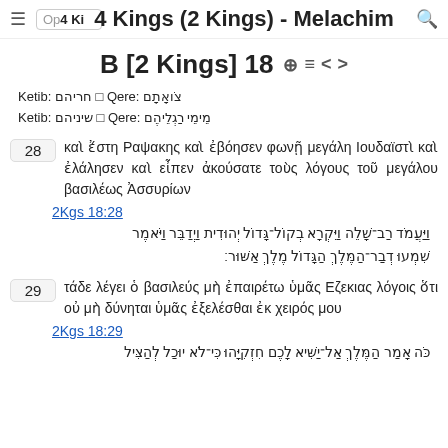4 Kings (2 Kings) - Melachim
B [2 Kings] 18
Ketib: חריהם □ Qere: צֹואָתָם
Ketib: שיניהם □ Qere: מֵימֵי רַגְלֵיהֶם
28  καὶ ἔστη Ραψακης καὶ ἐβόησεν φωνῇ μεγάλη Ιουδαϊστὶ καὶ ἐλάλησεν καὶ εἶπεν ἀκούσατε τοὺς λόγους τοῦ μεγάλου βασιλέως Ἀσσυρίων
2Kgs 18:28
וַיַּעֲמֹד רַב־שָׁלֵה וַיִּקְרָא בְקוֹל־גָּדוֹל יְהוּדִית וַיְדַבֵּר וַיֹּאמֶר שִׁמְעוּ דְבַר־הַמֶּלֶךְ הַגָּדוֹל מֶלֶךְ אַשּׁוּר׃
29  τάδε λέγει ὁ βασιλεύς μὴ ἐπαιρέτω ὑμᾶς Εζεκιας λόγοις ὅτι οὐ μὴ δύνηται ὑμᾶς ἐξελέσθαι ἐκ χειρός μου
2Kgs 18:29
כֹּה אָמַר הַמֶּלֶךְ אַל־יַשִּׁיא לָכֶם חִזְקִיָּהוּ כִּי־לֹא יוּכַל לְהַצִּיל